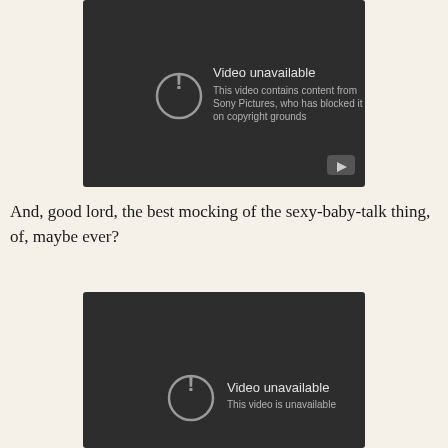[Figure (screenshot): YouTube video unavailable screenshot with dark background. Shows a circle with exclamation mark icon, text 'Video unavailable' and 'This video contains content from Sony Pictures, who has blocked it on copyright grounds'. Play button in bottom right corner.]
And, good lord, the best mocking of the sexy-baby-talk thing, of, maybe ever?
[Figure (screenshot): YouTube video unavailable screenshot with dark background. Shows a circle with exclamation mark icon, text 'Video unavailable' and 'This video is unavailable'. Partially visible.]